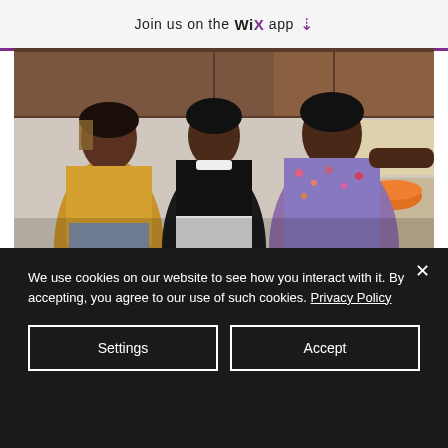Join us on the WiX app ⬇
[Figure (photo): Three women joyfully dancing together in a kitchen scene, from the movie Hidden Figures. One wears a yellow blouse, one a black top, and one a floral blouse.]
Gizelle Lue 👑
Aug 14, 2017 · 1 min
FS #23
We use cookies on our website to see how you interact with it. By accepting, you agree to our use of such cookies. Privacy Policy
Settings
Accept